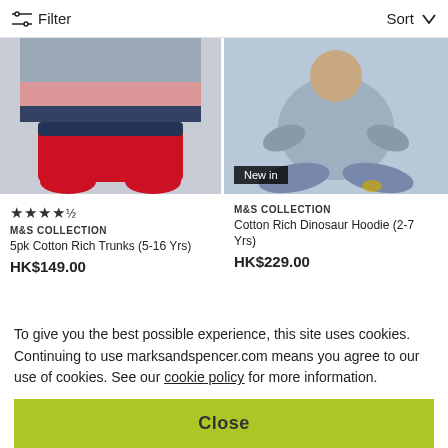Filter   Sort
[Figure (photo): Red and grey cotton trunks underwear product photo on light background]
[Figure (photo): Child in light blue hoodie sitting cross-legged, with 'New in' badge overlay]
★★★★½
M&S COLLECTION
5pk Cotton Rich Trunks (5-16 Yrs)
HK$149.00
M&S COLLECTION
Cotton Rich Dinosaur Hoodie (2-7 Yrs)
HK$229.00
[Figure (photo): Blue and navy sleeveless vests/tanks product photo]
[Figure (photo): Colourful tropical print clothing items in green and orange]
To give you the best possible experience, this site uses cookies. Continuing to use marksandspencer.com means you agree to our use of cookies. See our cookie policy for more information.
Close